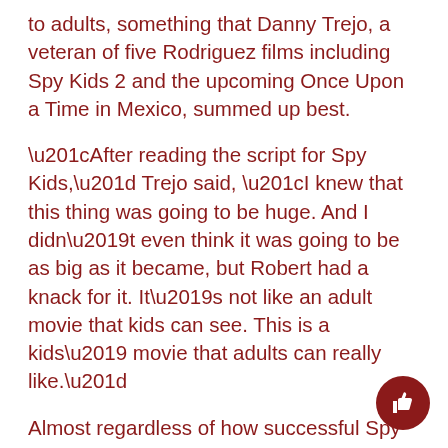to adults, something that Danny Trejo, a veteran of five Rodriguez films including Spy Kids 2 and the upcoming Once Upon a Time in Mexico, summed up best.
“After reading the script for Spy Kids,” Trejo said, “I knew that this thing was going to be huge. And I didn’t even think it was going to be as big as it became, but Robert had a knack for it. It’s not like an adult movie that kids can see. This is a kids’ movie that adults can really like.”
Almost regardless of how successful Spy Kids 2 is this weekend, Rodriguez has already finished a script for Spy Kids 3, which is currently in preproduction at Dimension. Sure to film in Austin as the last two Spy Kids adventures have been, Rodriguez is keeping mum on who or what the next journey will entail, but he’s certainly excited about it, something he wasn’t completely sold on a few months ago.